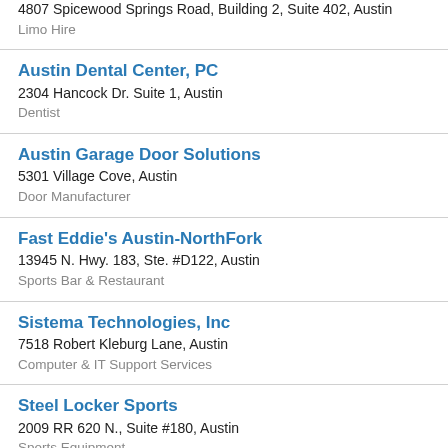4807 Spicewood Springs Road, Building 2, Suite 402, Austin
Limo Hire
Austin Dental Center, PC
2304 Hancock Dr. Suite 1, Austin
Dentist
Austin Garage Door Solutions
5301 Village Cove, Austin
Door Manufacturer
Fast Eddie's Austin-NorthFork
13945 N. Hwy. 183, Ste. #D122, Austin
Sports Bar & Restaurant
Sistema Technologies, Inc
7518 Robert Kleburg Lane, Austin
Computer & IT Support Services
Steel Locker Sports
2009 RR 620 N., Suite #180, Austin
Sports Equipment